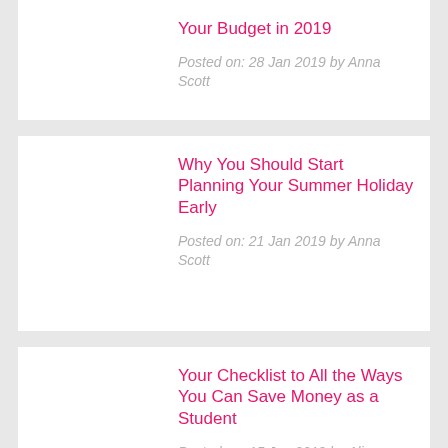Your Budget in 2019
Posted on: 28 Jan 2019 by Anna Scott
Why You Should Start Planning Your Summer Holiday Early
Posted on: 21 Jan 2019 by Anna Scott
Your Checklist to All the Ways You Can Save Money as a Student
Posted on: 15 Jan 2019 by Alice